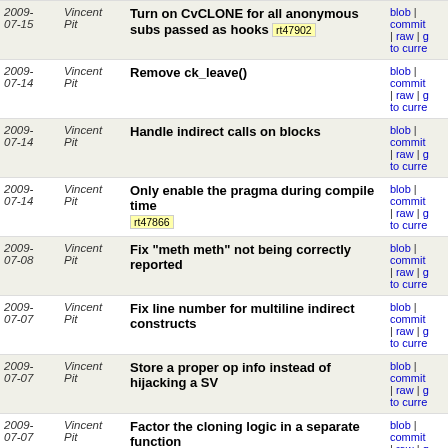| Date | Author | Message | Links |
| --- | --- | --- | --- |
| 2009-07-15 | Vincent Pit | Turn on CvCLONE for all anonymous subs passed as hooks rt47902 | blob | commit | raw | g to curre |
| 2009-07-14 | Vincent Pit | Remove ck_leave() | blob | commit | raw | g to curre |
| 2009-07-14 | Vincent Pit | Handle indirect calls on blocks | blob | commit | raw | g to curre |
| 2009-07-14 | Vincent Pit | Only enable the pragma during compile time rt47866 | blob | commit | raw | g to curre |
| 2009-07-08 | Vincent Pit | Fix "meth meth" not being correctly reported | blob | commit | raw | g to curre |
| 2009-07-07 | Vincent Pit | Fix line number for multiline indirect constructs | blob | commit | raw | g to curre |
| 2009-07-07 | Vincent Pit | Store a proper op info instead of hijacking a SV | blob | commit | raw | g to curre |
| 2009-07-07 | Vincent Pit | Factor the cloning logic in a separate function | blob | commit | raw | g to curre |
| 2009-06-05 | Florian Ragwitz | Remove unused variable. | blob | commit | raw | g to curre |
| 2009-05-29 | Vincent Pit | Don't actually create an entry when storing NULL in... | blob | commit | raw | g to curre |
| 2009-... | Vincent ... | Fix s small leak of hints objects | blob |